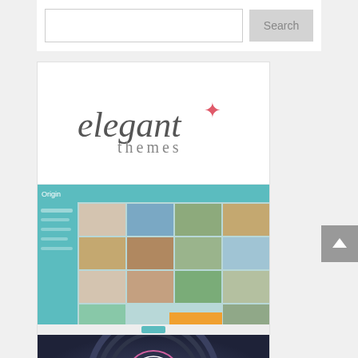[Figure (screenshot): Search bar with text input field and 'Search' button]
[Figure (screenshot): Elegant Themes advertisement banner showing logo, portfolio gallery screenshots, Divi theme dark section with circular D logo, icon strip, and pink section with 'Beautiful WordPress Themes' text]